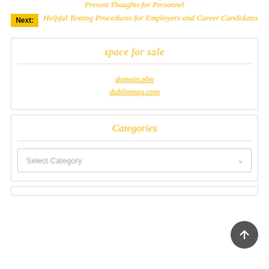Present Thoughts for Personnel
Next: Helpful Texting Procedures for Employers and Career Candidates
space for sale
domain.pbn
dublinmag.com
Categories
Select Category